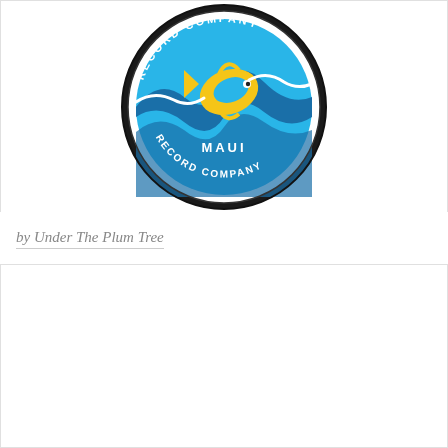[Figure (logo): Circular logo for Maui Record Company. Dark/black circular border with white text reading 'RECORD COMPANY' along the bottom arc and what appears to be partial text at the top. Center features a colorful illustration of an ocean wave with a tropical fish in blue, yellow, and teal colors. The word 'MAUI' appears in white text in the center of the circle.]
by Under The Plum Tree